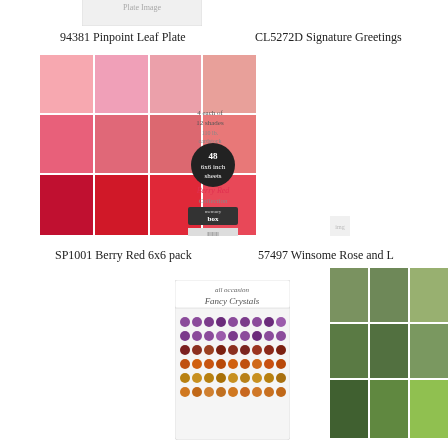[Figure (photo): Pinpoint Leaf Plate product image at top left]
94381 Pinpoint Leaf Plate
CL5272D Signature Greetings
[Figure (photo): SP1001 Berry Red 6x6 paper pack with pink and red color swatches and Memory Box branding label]
SP1001 Berry Red 6x6 pack
57497 Winsome Rose and L
[Figure (photo): Fairy Crystals adhesive gem sheet with purple and orange gems]
[Figure (photo): Green paper pack with multiple shades of green color swatches in a grid pattern]